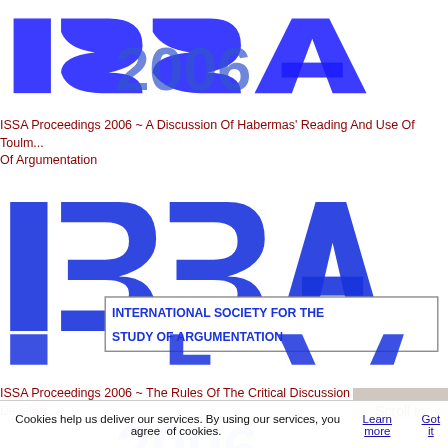[Figure (logo): ISSA 2006 logo - blue letters ISSA large with 2006 below, cropped at top]
ISSA Proceedings 2006 ~ A Discussion Of Habermas' Reading And Use Of Toulm... Of Argumentation
[Figure (logo): ISSA 2006 logo - large blue ISSA letters with International Society for the Study of Argumentation banner]
ISSA Proceedings 2006 ~ The Rules Of The Critical Discussion And The Develop... Critical Thinking
[Figure (logo): Partial ISSA 2006 logo bottom crop showing 2006]
Scroll to top
Cookies help us deliver our services. By using our services, you agree of cookies. Learn more Got it